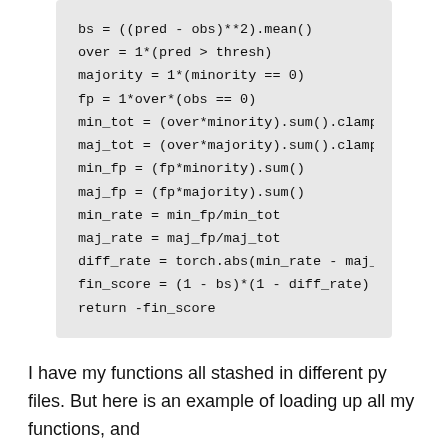I have my functions all stashed in different py files. But here is an example of loading up all my functions, and